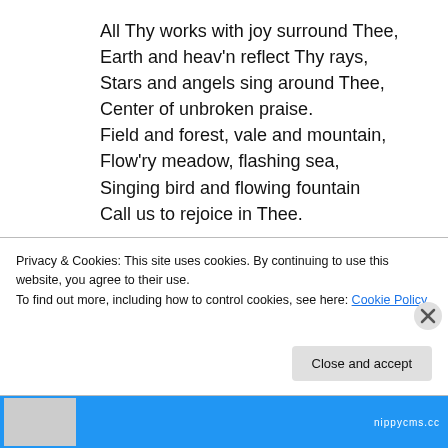All Thy works with joy surround Thee,
Earth and heav'n reflect Thy rays,
Stars and angels sing around Thee,
Center of unbroken praise.
Field and forest, vale and mountain,
Flow'ry meadow, flashing sea,
Singing bird and flowing fountain
Call us to rejoice in Thee.

Thou art giving and forgiving,
Ever blessing, ever blest,
Privacy & Cookies: This site uses cookies. By continuing to use this website, you agree to their use.
To find out more, including how to control cookies, see here: Cookie Policy